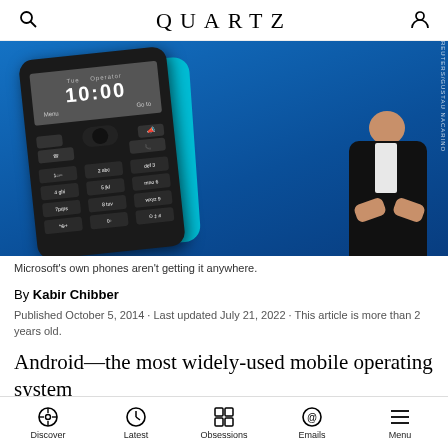QUARTZ
[Figure (photo): Nokia feature phone (black) displayed prominently against blue background, with a cyan/turquoise phone behind it, and a man in a dark suit speaking on the right side. Photo credit: REUTERS/GUSTAU NACARINO]
Microsoft's own phones aren't getting it anywhere.
By Kabir Chibber
Published October 5, 2014 · Last updated July 21, 2022 · This article is more than 2 years old.
Android—the most widely-used mobile operating system
Discover · Latest · Obsessions · Emails · Menu